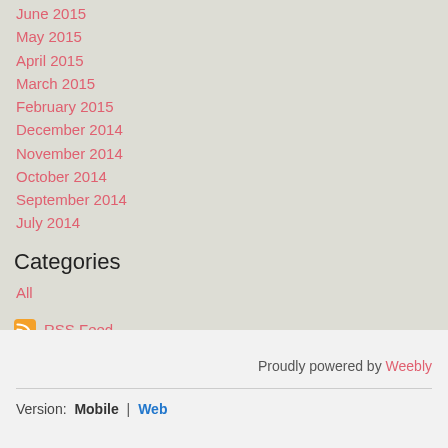June 2015
May 2015
April 2015
March 2015
February 2015
December 2014
November 2014
October 2014
September 2014
July 2014
Categories
All
RSS Feed
Proudly powered by Weebly
Version: Mobile | Web